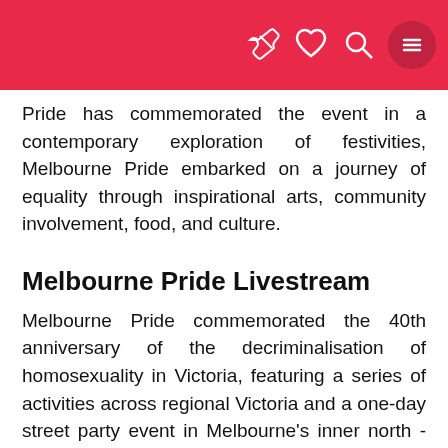[Navigation bar with ticket, heart, search, and menu icons]
Pride has commemorated the event in a contemporary exploration of festivities, Melbourne Pride embarked on a journey of equality through inspirational arts, community involvement, food, and culture.
Melbourne Pride Livestream
Melbourne Pride commemorated the 40th anniversary of the decriminalisation of homosexuality in Victoria, featuring a series of activities across regional Victoria and a one-day street party event in Melbourne's inner north - as well as digital online programming that complemented the extensive live offerings.